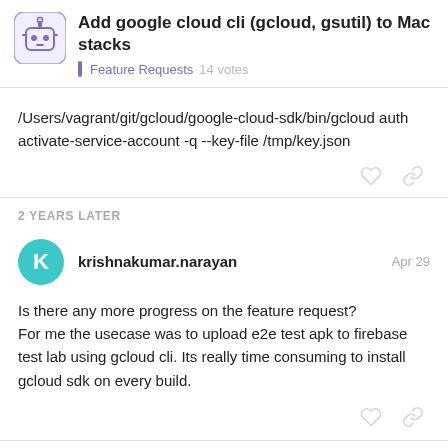Add google cloud cli (gcloud, gsutil) to Mac stacks
Feature Requests  14 votes
/Users/vagrant/git/gcloud/google-cloud-sdk/bin/gcloud auth activate-service-account -q --key-file /tmp/key.json
2 YEARS LATER
krishnakumar.narayan  Apr 29
Is there any more progress on the feature request?
For me the usecase was to upload e2e test apk to firebase test lab using gcloud cli. Its really time consuming to install gcloud sdk on every build.